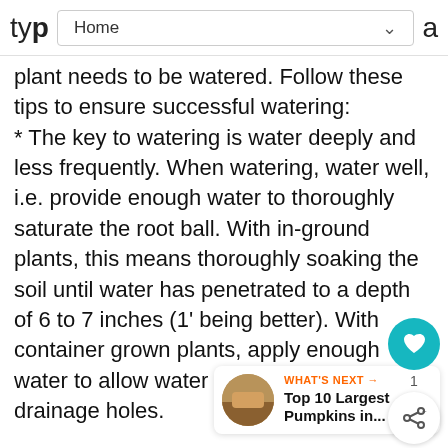typ Home a
plant needs to be watered. Follow these tips to ensure successful watering:
* The key to watering is water deeply and less frequently. When watering, water well, i.e. provide enough water to thoroughly saturate the root ball. With in-ground plants, this means thoroughly soaking the soil until water has penetrated to a depth of 6 to 7 inches (1' being better). With container grown plants, apply enough water to allow water to flow through the drainage holes.
[Figure (screenshot): WHAT'S NEXT arrow widget with thumbnail image and text 'Top 10 Largest Pumpkins in...']